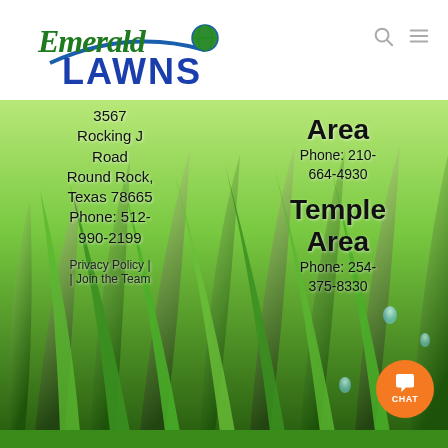[Figure (logo): Emerald Lawns logo with cursive green Emerald text and bold blue LAWNS text, with a globe graphic]
3567 Rocking J Road
Round Rock, Texas 78665
Phone: 512-990-2199
Area
Phone: 210-664-4930
Temple Area
Phone: 254-375-8330
Privacy Policy | Join the Team